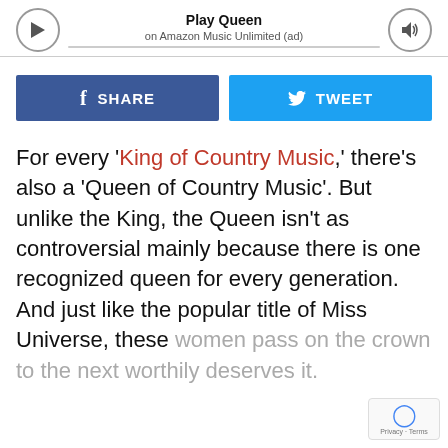[Figure (other): Music player widget showing Play Queen on Amazon Music Unlimited (ad) with play button, progress bar, and volume button]
[Figure (other): Social share buttons: Facebook SHARE button (blue) and Twitter TWEET button (light blue)]
For every 'King of Country Music,' there's also a 'Queen of Country Music'. But unlike the King, the Queen isn't as controversial mainly because there is one recognized queen for every generation. And just like the popular title of Miss Universe, these women pass on the crown to the next worthily deserves it.